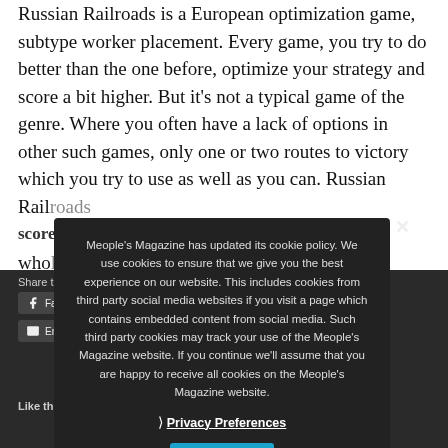Russian Railroads is a European optimization game, subtype worker placement. Every game, you try to do better than the one before, optimize your strategy and score a bit higher. But it's not a typical game of the genre. Where you often have a lack of options in other such games, only one or two routes to victory which you try to use as well as you can. Russian Railroads score whole score for a
Share this:
Facebook Twitter Email
Like this:
Meople's Magazine has updated its cookie policy. We use cookies to ensure that we give you the best experience on our website. This includes cookies from third party social media websites if you visit a page which contains embedded content from social media. Such third party cookies may track your use of the Meople's Magazine website. If you continue we'll assume that you are happy to receive all cookies on the Meople's Magazine website.
Privacy Preferences
I Agree